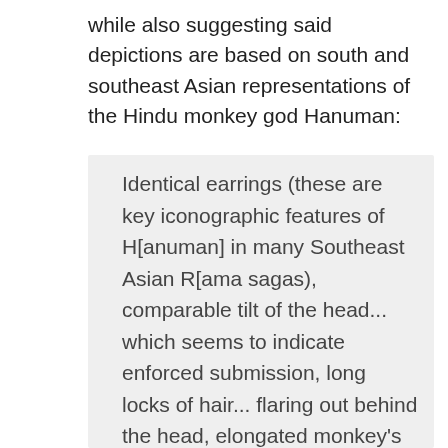while also suggesting said depictions are based on south and southeast Asian representations of the Hindu monkey god Hanuman:
Identical earrings (these are key iconographic features of H[anuman] in many Southeast Asian R[ama sagas), comparable tilt of the head... which seems to indicate enforced submission, long locks of hair... flaring out behind the head, elongated monkey's mouth, similar decorations on the forearm and upper arm, etc. It is crucial to note